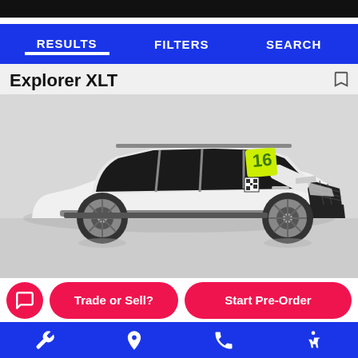RESULTS   FILTERS   SEARCH
Explorer XLT
[Figure (photo): White 2016 Ford Explorer XLT SUV photographed in a showroom from a front three-quarter angle. A yellow '16 sticker is visible on the windshield.]
Trade or Sell?   Start Pre-Order
Navigation bar with wrench, location pin, phone, and accessibility icons